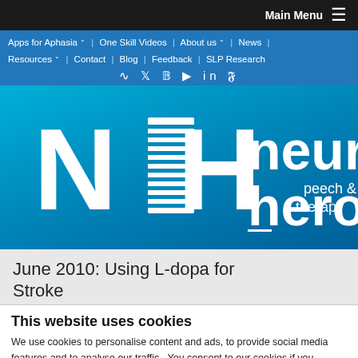Main Menu
Apps for Aphasia | One Skill Videos | About us | News | Resources | Contact | Blog | Feedback | SLP Research
[Figure (logo): Neuro Hero logo — white NH letters on blue gradient background with text 'neuro hero speech & therapy']
June 2010: Using L-dopa for Stroke
This website uses cookies
We use cookies to personalise content and ads, to provide social media features and to analyse our traffic.  You consent to our cookies if you continue to use our website.